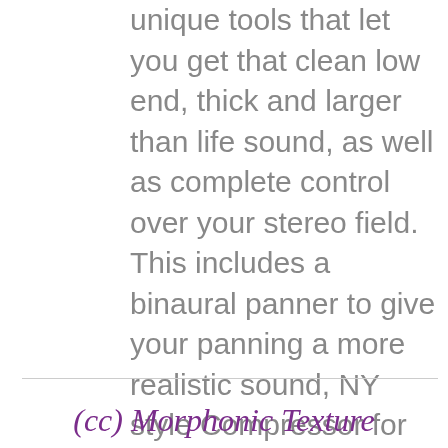unique tools that let you get that clean low end, thick and larger than life sound, as well as complete control over your stereo field. This includes a binaural panner to give your panning a more realistic sound, NY style Compressor for phat drums and bass, as well as an easy way to add 3d effects to your sounds.
(cc) Morphonic Texture